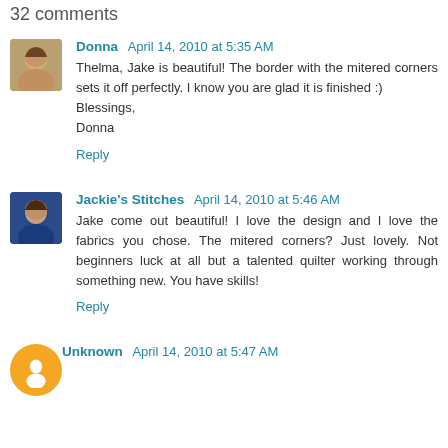32 comments
Donna  April 14, 2010 at 5:35 AM
Thelma, Jake is beautiful! The border with the mitered corners sets it off perfectly. I know you are glad it is finished :)
Blessings,
Donna
Reply
Jackie's Stitches  April 14, 2010 at 5:46 AM
Jake come out beautiful! I love the design and I love the fabrics you chose. The mitered corners? Just lovely. Not beginners luck at all but a talented quilter working through something new. You have skills!
Reply
Unknown  April 14, 2010 at 5:47 AM